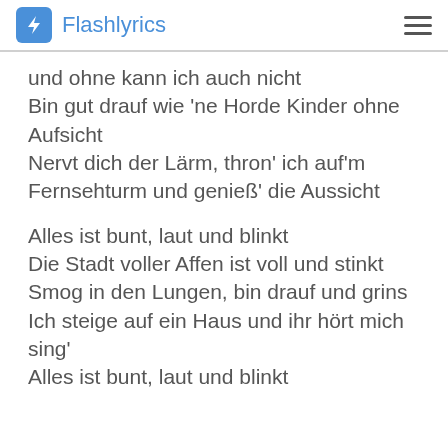Flashlyrics
und ohne kann ich auch nicht
Bin gut drauf wie 'ne Horde Kinder ohne Aufsicht
Nervt dich der Lärm, thron' ich auf'm Fernsehturm und genieß' die Aussicht
Alles ist bunt, laut und blinkt
Die Stadt voller Affen ist voll und stinkt
Smog in den Lungen, bin drauf und grins
Ich steige auf ein Haus und ihr hört mich sing'
Alles ist bunt, laut und blinkt